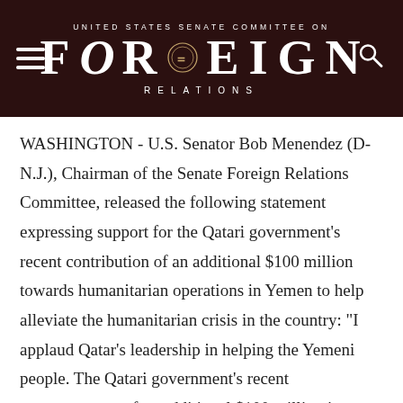UNITED STATES SENATE COMMITTEE ON FOREIGN RELATIONS
WASHINGTON - U.S. Senator Bob Menendez (D-N.J.), Chairman of the Senate Foreign Relations Committee, released the following statement expressing support for the Qatari government's recent contribution of an additional $100 million towards humanitarian operations in Yemen to help alleviate the humanitarian crisis in the country: "I applaud Qatar's leadership in helping the Yemeni people. The Qatari government's recent announcement of an additional $100 million in additional humanitarian assistan… CONTINUE READING